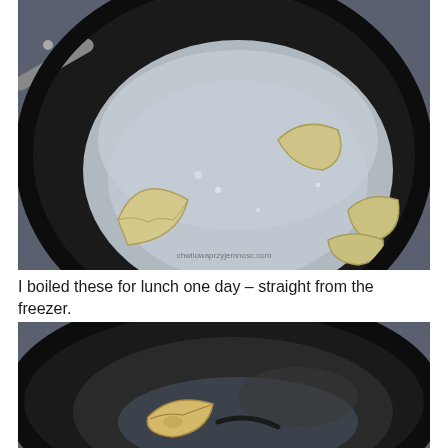[Figure (photo): Dumplings or pierogies boiling in a black non-stick pan with water, steam rising, shot from above at an angle. A metal spatula handle is visible at the top left.]
I boiled these for lunch one day – straight from the freezer.
[Figure (photo): A black non-stick pan with a single dumpling or pierogi and a small amount of water/liquid remaining, shot from above at an angle.]